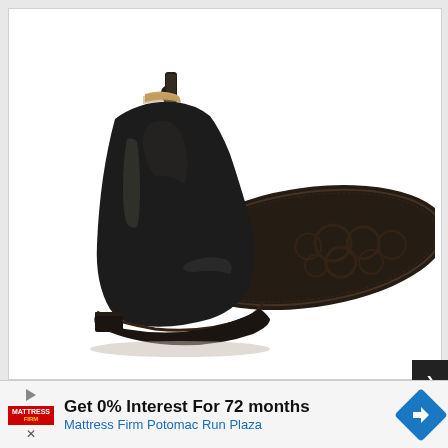[Figure (photo): Product photo of black leather Chelsea boots. One boot is shown upright from the side profile showing smooth black leather upper with elastic side panel and pull tab at the back. The second boot is shown lying on its side/sole showing the dark rubber outsole with circular tread pattern. Background is white.]
>
Get 0% Interest For 72 months
Mattress Firm Potomac Run Plaza